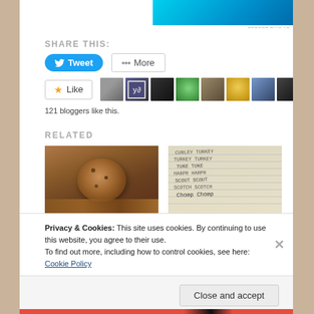[Figure (screenshot): Blue gradient ad banner in top right corner with 'REPORT THIS AD' text below]
SHARE THIS:
[Figure (screenshot): Tweet button (blue rounded) and More button (outlined) for sharing]
[Figure (screenshot): Like button with star icon and row of 9 blogger avatar thumbnails]
121 bloggers like this.
RELATED
[Figure (photo): Photo of a cashew cookie on a wooden surface]
Cashew cookies and a
[Figure (photo): Photo of handwritten list on lined notebook paper]
Project Prochnost: Week
Privacy & Cookies: This site uses cookies. By continuing to use this website, you agree to their use.
To find out more, including how to control cookies, see here: Cookie Policy
Close and accept